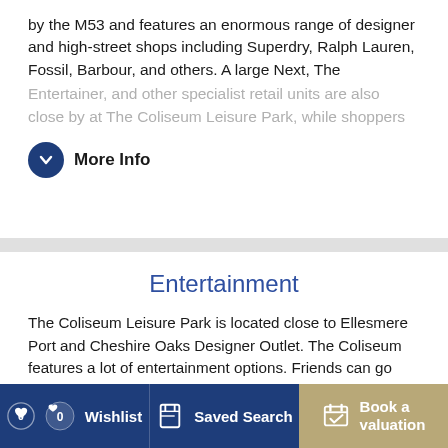by the M53 and features an enormous range of designer and high-street shops including Superdry, Ralph Lauren, Fossil, Barbour, and others. A large Next, The Entertainer, and other specialist retail units are also close by at The Coliseum Leisure Park, while shoppers
More Info
Entertainment
The Coliseum Leisure Park is located close to Ellesmere Port and Cheshire Oaks Designer Outlet. The Coliseum features a lot of entertainment options. Friends can go bowling while there is also a Quasar Laser centre to utilise. A 16-screen Vue Cinema with a games room is also part of The Coliseum.
The Blue Planet Aquarium is also nearby and is home to
0 Wishlist | Saved Search | Book a valuation